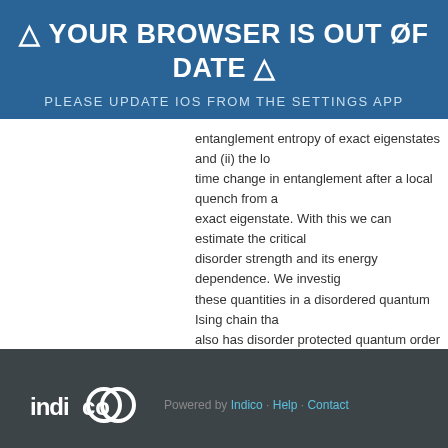⚠ YOUR BROWSER IS OUT OF DATE ⚠
PLEASE UPDATE IOS FROM THE SETTINGS APP
entanglement entropy of exact eigenstates and (ii) the long time change in entanglement after a local quench from an exact eigenstate. With this we can estimate the critical disorder strength and its energy dependence. We investigate these quantities in a disordered quantum Ising chain that also has disorder protected quantum order at large disorder strength and provide evidence for it being a separate transition.
Speaker: Jonas Kjäll
Slides
Powered by Indico · Help · Contact